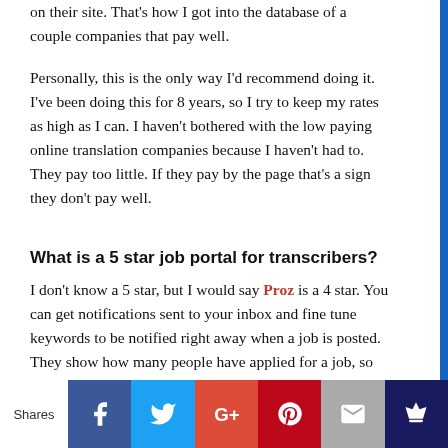on their site. That's how I got into the database of a couple companies that pay well.
Personally, this is the only way I'd recommend doing it. I've been doing this for 8 years, so I try to keep my rates as high as I can. I haven't bothered with the low paying online translation companies because I haven't had to. They pay too little. If they pay by the page that's a sign they don't pay well.
What is a 5 star job portal for transcribers?
I don't know a 5 star, but I would say Proz is a 4 star. You can get notifications sent to your inbox and fine tune keywords to be notified right away when a job is posted. They show how many people have applied for a job, so you don't waste your time. I pay for the membership, which can be written off on taxes in the US. It seems to have brought more clients and payed off.
Shares | Facebook | Twitter | Google+ | Pinterest | Email | Crown